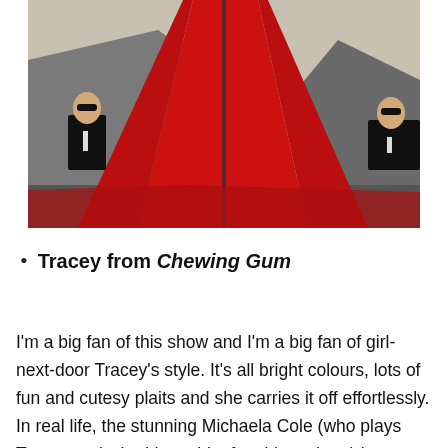[Figure (photo): A person in a dramatic long red gown/cape standing between two men in black suits against a gravel hillside backdrop. The red fabric spreads out on the ground.]
Tracey from Chewing Gum
I'm a big fan of this show and I'm a big fan of girl-next-door Tracey's style. It's all bright colours, lots of fun and cutesy plaits and she carries it off effortlessly. In real life, the stunning Michaela Cole (who plays Tracey and who I have bit of a girl crush on) is equally